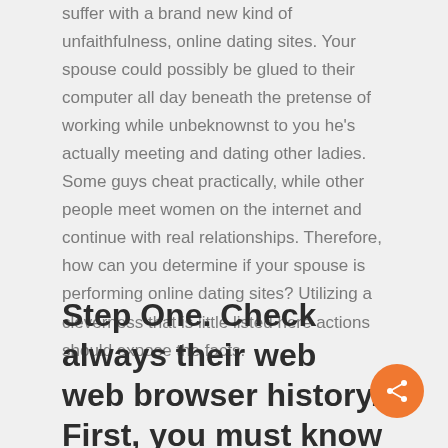suffer with a brand new kind of unfaithfulness, online dating sites. Your spouse could possibly be glued to their computer all day beneath the pretense of working while unbeknownst to you he's actually meeting and dating other ladies. Some guys cheat practically, while other people meet women on the internet and continue with real relationships. Therefore, how can you determine if your spouse is performing online dating sites? Utilizing a cleverness that is little listed here actions should expose the facts.
Step One. Check always their web web browser history. First, you must know the password to his computer, if he makes use